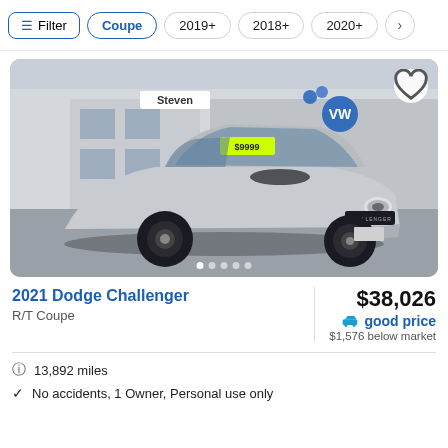Filter | Coupe | 2019+ | 2018+ | 2020+
[Figure (photo): 2021 Dodge Challenger silver coupe parked in front of a Volkswagen dealership with a yellow price sticker on the windshield]
2021 Dodge Challenger
R/T Coupe
$38,026
good price
$1,576 below market
13,892 miles
No accidents, 1 Owner, Personal use only